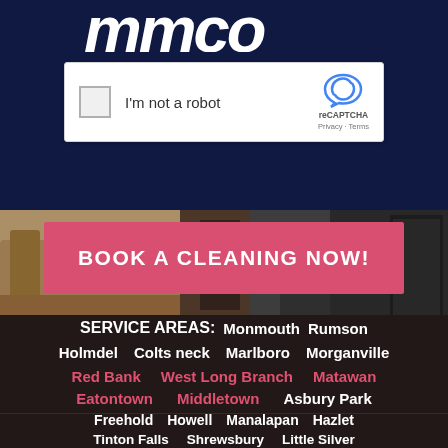[Figure (screenshot): Website logo area showing stylized text partially cropped at top]
[Figure (screenshot): Google reCAPTCHA widget with checkbox 'I'm not a robot' and reCAPTCHA logo with Privacy and Terms links]
[Figure (photo): Background photo of a living room with leather couch and dark rug]
BOOK A CLEANING NOW!
SERVICE AREAS:
Monmouth  Rumson
Holmdel  Colts neck  Marlboro  Morganville
Red Bank  West Long Branch  Matawan
Eatontown  Middletown  Asbury Park
Freehold  Howell  Manalapan  Hazlet
Tinton Falls  Shrewsbury  Little Silver